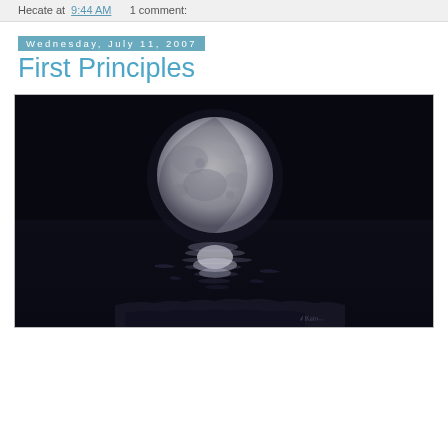Hecate at 9:44 AM    1 comment:
Wednesday, July 11, 2007
First Principles
[Figure (photo): Black and white photograph of a moon reflecting on water. The moon is large and bright against a dark black sky, with its reflection shimmering on a dark water surface below. A faint artist signature appears in the bottom right corner.]